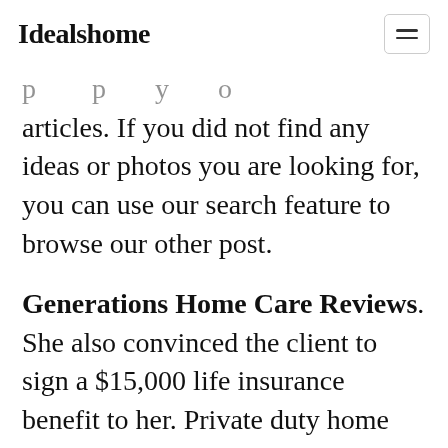Idealshome
articles. If you did not find any ideas or photos you are looking for, you can use our search feature to browse our other post.
Generations Home Care Reviews. She also convinced the client to sign a $15,000 life insurance benefit to her. Private duty home care in tacoma, wa. See bbb rating, reviews, complaints, & more. I am so grateful for their service and the caregivers